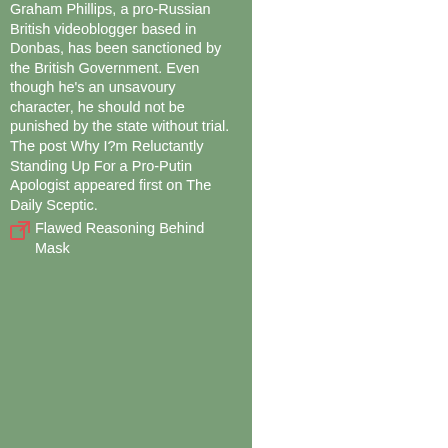Graham Phillips, a pro-Russian British videoblogger based in Donbas, has been sanctioned by the British Government. Even though he's an unsavoury character, he should not be punished by the state without trial. The post Why I?m Reluctantly Standing Up For a Pro-Putin Apologist appeared first on The Daily Sceptic.
Flawed Reasoning Behind Mask